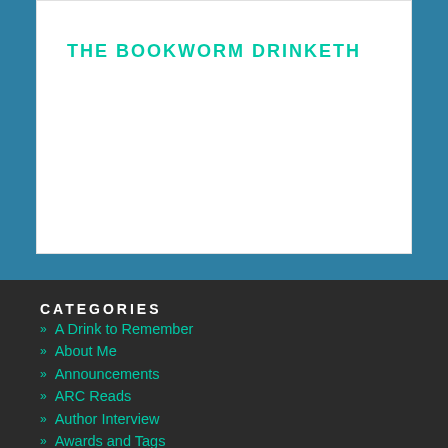THE BOOKWORM DRINKETH
CATEGORIES
A Drink to Remember
About Me
Announcements
ARC Reads
Author Interview
Awards and Tags
Bizarro Reads
Blog Tour